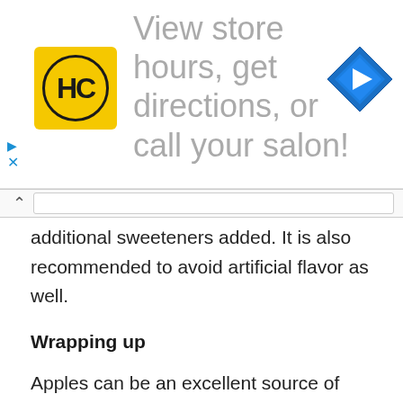[Figure (other): Advertisement banner showing HC logo in yellow circle, text 'View store hours, get directions, or call your salon!' in gray, and a blue diamond navigation arrow icon on the right. Includes small play and close control buttons on the left side.]
additional sweeteners added. It is also recommended to avoid artificial flavor as well.
Wrapping up
Apples can be an excellent source of minerals and antioxidants. But just like the other fruits, it must be served in moderation to make the best low-